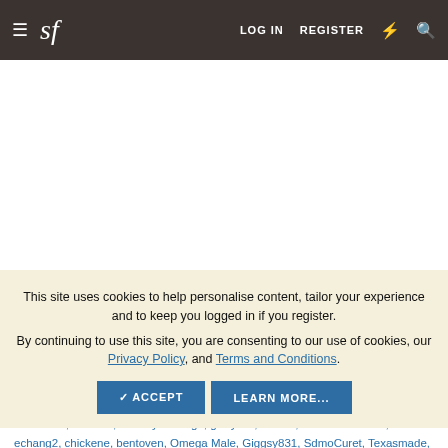sf | LOG IN  REGISTER
[Figure (other): White advertisement/content area]
This site uses cookies to help personalise content, tailor your experience and to keep you logged in if you register. By continuing to use this site, you are consenting to our use of cookies, our Privacy Policy, and Terms and Conditions.
ACCEPT   LEARN MORE...
olg666, ScottyK, aKula, NitaChastain, boyol, EvilBoffin, refinery, strangebrew, Sardonic1, larimars, Beverly Cienaga, garryrew, mdubs, Hombre Secreto, echang2, chickene, bentoven, Omega Male, Giggsy831, SdmoCuret, Texasmade, sensuki, SFGoldDigger, nootje, touchthesky, schraiber, Alternate, gmalicki, serbarristan, mke94, Canadian Sensei, Markl, Big Bird, lentax, ellsbebc, BlandJamesBlend, akihira, Shao Martien, sensimaon, Ambulance